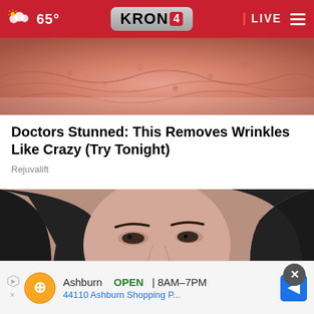65° KRON4 LIVE
[Figure (photo): Close-up photo of skin with wrinkles and redness]
Doctors Stunned: This Removes Wrinkles Like Crazy (Try Tonight)
Rejuvalift
[Figure (photo): Young woman with dark hair applying a facial roller/wand near her eye]
Ashburn  OPEN | 8AM–7PM  44110 Ashburn Shopping P...